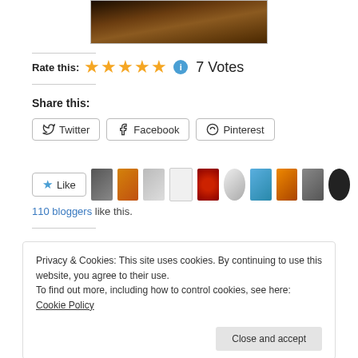[Figure (photo): Partial view of a painting or photo with dark warm tones, partially cropped at top]
Rate this: ★★★★★ ℹ 7 Votes
Share this:
Twitter  Facebook  Pinterest
Like  [blogger avatars]  110 bloggers like this.
Privacy & Cookies: This site uses cookies. By continuing to use this website, you agree to their use.
To find out more, including how to control cookies, see here: Cookie Policy
Close and accept